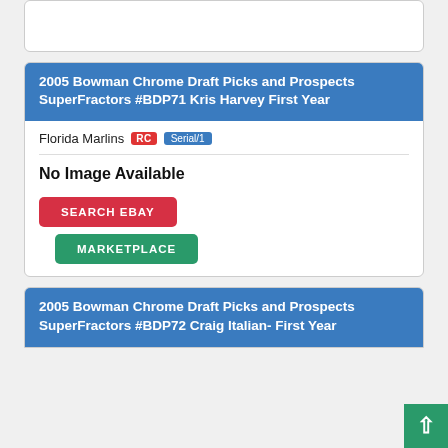2005 Bowman Chrome Draft Picks and Prospects SuperFractors #BDP71 Kris Harvey First Year
Florida Marlins RC Serial/1
[Figure (other): No Image Available placeholder]
SEARCH EBAY
MARKETPLACE
2005 Bowman Chrome Draft Picks and Prospects SuperFractors #BDP72 Craig Italian- First Year